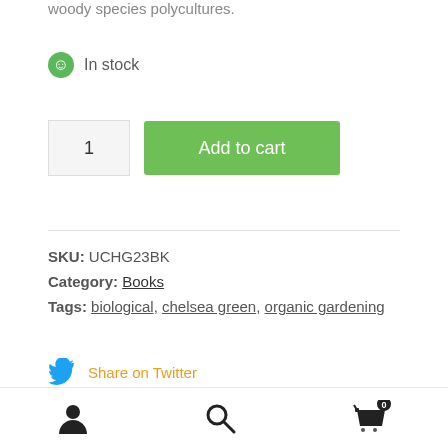woody species polycultures.
In stock
1
Add to cart
SKU: UCHG23BK
Category: Books
Tags: biological, chelsea green, organic gardening
Share on Twitter
Share on Facebook
Pin this product